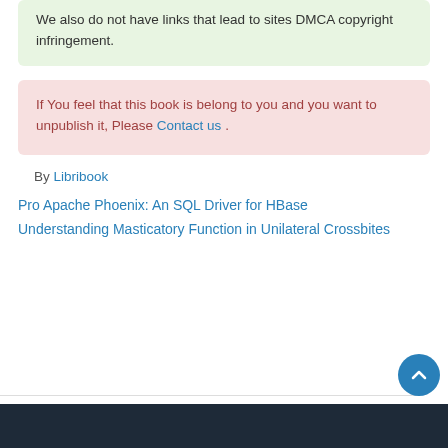We also do not have links that lead to sites DMCA copyright infringement.
If You feel that this book is belong to you and you want to unpublish it, Please Contact us .
By Libribook
Pro Apache Phoenix: An SQL Driver for HBase
Understanding Masticatory Function in Unilateral Crossbites